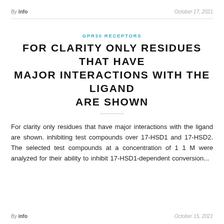By info    October 17, 2021
GPR30 RECEPTORS
FOR CLARITY ONLY RESIDUES THAT HAVE MAJOR INTERACTIONS WITH THE LIGAND ARE SHOWN
For clarity only residues that have major interactions with the ligand are shown. inhibiting test compounds over 17-HSD1 and 17-HSD2. The selected test compounds at a concentration of 1 1 M were analyzed for their ability to inhibit 17-HSD1-dependent conversion...
By info    October 15, 2021